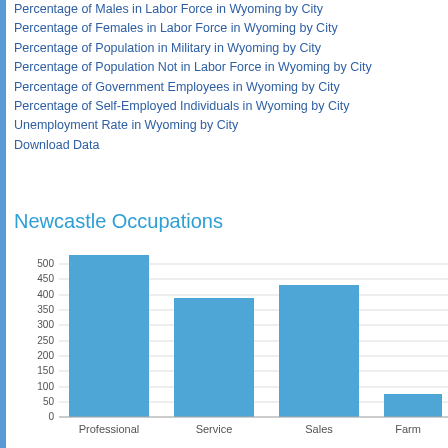Percentage of Males in Labor Force in Wyoming by City
Percentage of Females in Labor Force in Wyoming by City
Percentage of Population in Military in Wyoming by City
Percentage of Population Not in Labor Force in Wyoming by City
Percentage of Government Employees in Wyoming by City
Percentage of Self-Employed Individuals in Wyoming by City
Unemployment Rate in Wyoming by City
Download Data
Newcastle Occupations
[Figure (bar-chart): Newcastle Occupations]